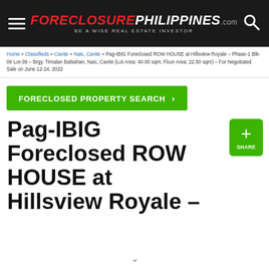FORECLOSUREPHILIPPINES.com — BE A WISE REAL ESTATE INVESTOR
Home » Classifieds » Cavite » Naic, Cavite » Pag-IBIG Foreclosed ROW HOUSE at Hillsview Royale – Phase-1 Blk-09 Lot-39 – Brgy. Timalan Balsahan, Naic, Cavite (Lot Area: 40.00 sqm; Floor Area: 22.50 sqm) – For Negotiated Sale on June 12-24, 2022
FORECLOSED PROPERTY SEARCH ›
Pag-IBIG Foreclosed ROW HOUSE at Hillsview Royale –